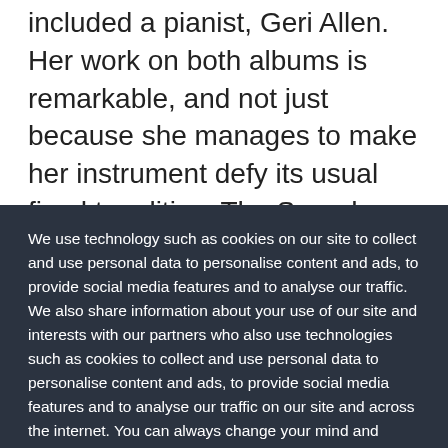included a pianist, Geri Allen. Her work on both albums is remarkable, and not just because she manages to make her instrument defy its usual fixed tonalities. The Sound Museum albums have held up well over time; even better, it would seem, than the contemporaneous duo recording Coleman made with another pianist, Joachim Kühn. Certainly they feel
We use technology such as cookies on our site to collect and use personal data to personalise content and ads, to provide social media features and to analyse our traffic. We also share information about your use of our site and interests with our partners who also use technologies such as cookies to collect and use personal data to personalise content and ads, to provide social media features and to analyse our traffic on our site and across the internet. You can always change your mind and revisit your choices.